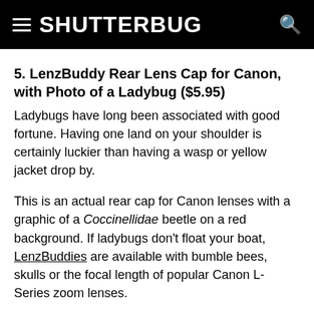SHUTTERBUG
5. LenzBuddy Rear Lens Cap for Canon, with Photo of a Ladybug ($5.95)
Ladybugs have long been associated with good fortune. Having one land on your shoulder is certainly luckier than having a wasp or yellow jacket drop by.
This is an actual rear cap for Canon lenses with a graphic of a Coccinellidae beetle on a red background. If ladybugs don't float your boat, LenzBuddies are available with bumble bees, skulls or the focal length of popular Canon L-Series zoom lenses.